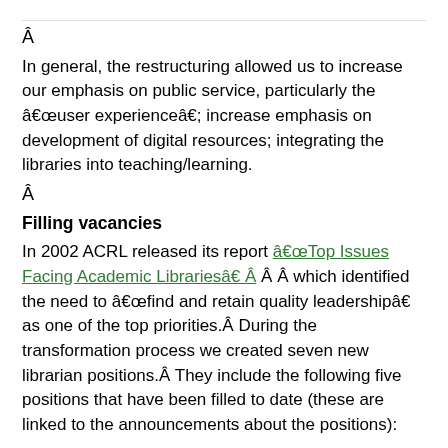Â
In general, the restructuring allowed us to increase our emphasis on public service, particularly the â€œuser experienceâ€; increase emphasis on development of digital resources; integrating the libraries into teaching/learning.
Â
Filling vacancies
In 2002 ACRL released its report â€œTop Issues Facing Academic Librariesâ€ Â Â which identified the need to â€œfind and retain quality leadershipâ€ as one of the top priorities.Â  During the transformation process we created seven new librarian positions.Â  They include the following five positions that have been filled to date (these are linked to the announcements about the positions):